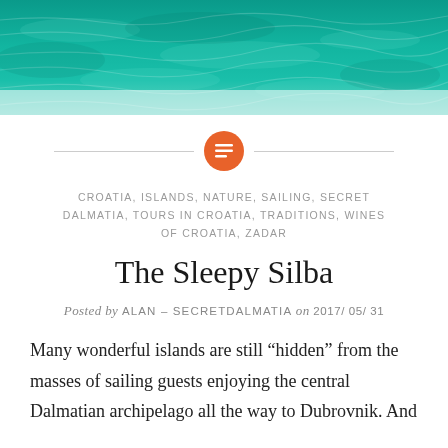[Figure (photo): Aerial view of turquoise/teal blue-green sea water with rippling surface texture, used as a hero banner image at the top of a travel blog post.]
CROATIA, ISLANDS, NATURE, SAILING, SECRET DALMATIA, TOURS IN CROATIA, TRADITIONS, WINES OF CROATIA, ZADAR
The Sleepy Silba
Posted by ALAN – SECRETDALMATIA on 2017/05/31
Many wonderful islands are still “hidden” from the masses of sailing guests enjoying the central Dalmatian archipelago all the way to Dubrovnik. And